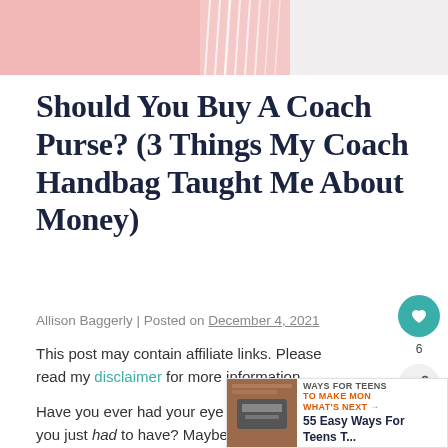[Figure (photo): Partial hero image showing a pink background with what appears to be a white fabric/fringe item — top portion of a Coach purse lifestyle photo]
Should You Buy A Coach Purse? (3 Things My Coach Handbag Taught Me About Money)
Allison Baggerly | Posted on December 4, 2021
This post may contain affiliate links. Please read my disclaimer for more information.
Have you ever had your eye on something and felt like you just had to have? Maybe it was a new iPad or a piece of furniture. Literally, every part of